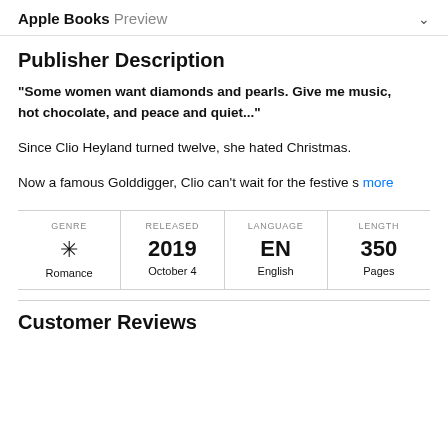Apple Books Preview
Publisher Description
"Some women want diamonds and pearls. Give me music, hot chocolate, and peace and quiet..."
Since Clio Heyland turned twelve, she hated Christmas.
Now a famous Golddigger, Clio can't wait for the festive s more
| GENRE | RELEASED | LANGUAGE | LENGTH |
| --- | --- | --- | --- |
| ✳ Romance | 2019 October 4 | EN English | 350 Pages |
Customer Reviews